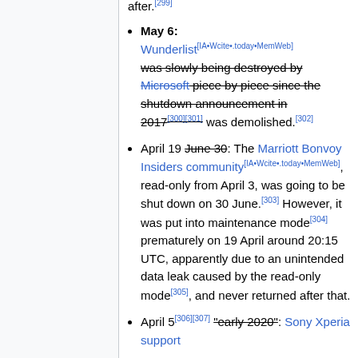after.[299]
May 6: Wunderlist[IA•Wcite•.today•MemWeb] was slowly being destroyed by Microsoft piece by piece since the shutdown announcement in 2017[300][301] was demolished.[302]
April 19 June 30: The Marriott Bonvoy Insiders community[IA•Wcite•.today•MemWeb], read-only from April 3, was going to be shut down on 30 June.[303] However, it was put into maintenance mode[304] prematurely on 19 April around 20:15 UTC, apparently due to an unintended data leak caused by the read-only mode[305], and never returned after that.
April 5[306][307] "early 2020": Sony Xperia support